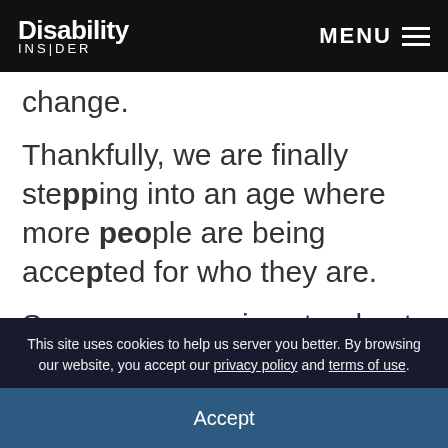Disability Insider MENU
change.
Thankfully, we are finally stepping into an age where more people are being accepted for who they are.
So many memories stand out that reaffirm my belief that I was born to be a performer. The first time a director told a cast member not to
This site uses cookies to help us server you better. By browsing our website, you accept our privacy policy and terms of use.
Accept